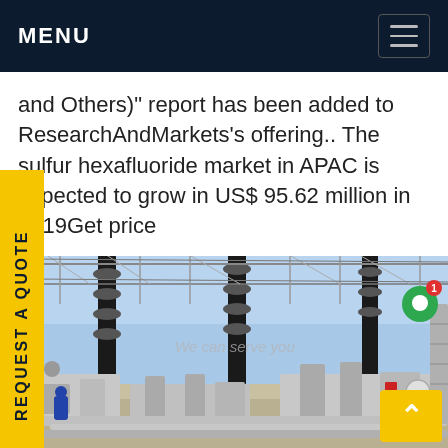MENU
and Others)" report has been added to ResearchAndMarkets's offering.. The sulfur hexafluoride market in APAC is expected to grow in US$ 95.62 million in 2019Get price
[Figure (photo): Electrical substation with high-voltage equipment including insulators, cables, and industrial infrastructure under a clear blue sky.]
REQUEST A QUOTE